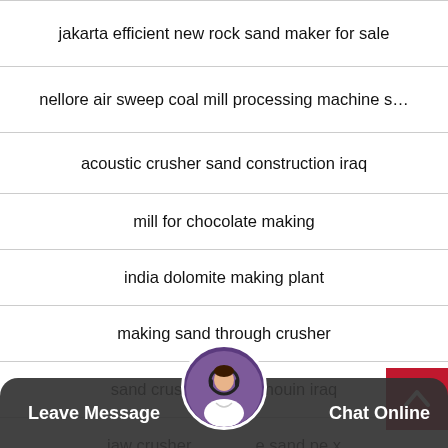jakarta efficient new rock sand maker for sale
nellore air sweep coal mill processing machine s…
acoustic crusher sand construction iraq
mill for chocolate making
india dolomite making plant
making sand through crusher
sand crusher guangzhouin iraq
jaw crusher e sand pe x
basalt sand crusher machine supplier bangalore